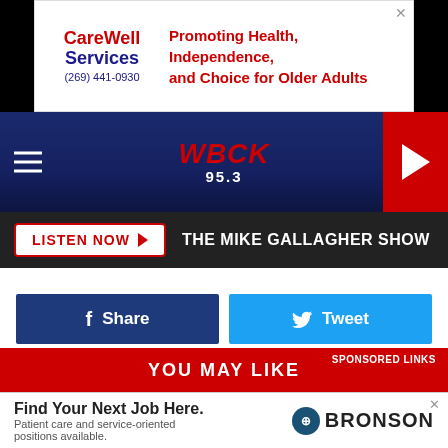[Figure (screenshot): CareWell Services advertisement banner with logo, phone number (269) 441-0930, and text 'Promoting Health, Independence, and Choice for Older Adults']
[Figure (logo): WBCK 95.3 radio station navigation bar with hamburger menu, logo, and play button]
LISTEN NOW  THE MIKE GALLAGHER SHOW
[Figure (screenshot): Facebook Share button and Twitter Tweet button]
YOU MAY LIKE
SPONSORED LINKS
[Figure (photo): Photo of a brown leather recliner chair]
[Figure (screenshot): Bronson advertisement: Find Your Next Job Here. Patient care and service-oriented positions available.]